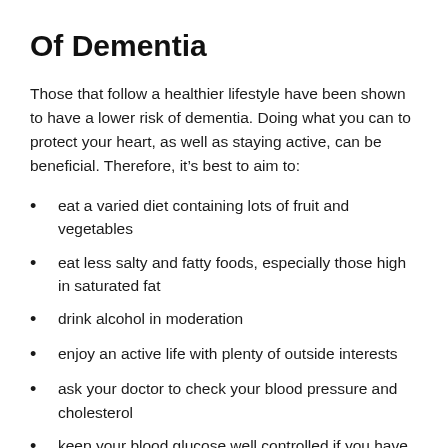Of Dementia
Those that follow a healthier lifestyle have been shown to have a lower risk of dementia. Doing what you can to protect your heart, as well as staying active, can be beneficial. Therefore, it’s best to aim to:
eat a varied diet containing lots of fruit and vegetables
eat less salty and fatty foods, especially those high in saturated fat
drink alcohol in moderation
enjoy an active life with plenty of outside interests
ask your doctor to check your blood pressure and cholesterol
keep your blood glucose well controlled if you have